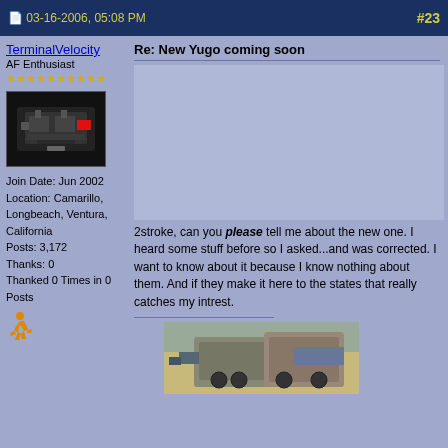03-16-2006, 05:08 PM   #23
TerminalVelocity
AF Enthusiast
★★★★★★★★★★
[Figure (photo): Car engine photo, dark background]
Join Date: Jun 2002
Location: Camarillo, Longbeach, Ventura, California
Posts: 3,172
Thanks: 0
Thanked 0 Times in 0 Posts
[Figure (illustration): Running figure emoji/icon in orange]
Re: New Yugo coming soon
[Figure (photo): Large embedded image area (car/vehicle related) shown in post body]
2stroke, can you please tell me about the new one. I heard some stuff before so I asked...and was corrected. I want to know about it because I know nothing about them. And if they make it here to the states that really catches my intrest.
[Figure (photo): Signature image showing military vehicles (Humvee) in desert scene]